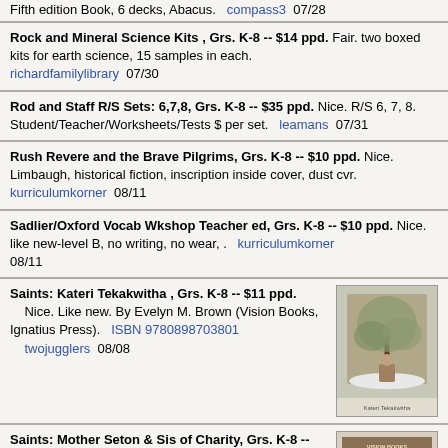Fifth edition Book, 6 decks, Abacus. compass3 07/28
Rock and Mineral Science Kits , Grs. K-8 -- $14 ppd. Fair. two boxed kits for earth science, 15 samples in each. richardfamilylibrary 07/30
Rod and Staff R/S Sets: 6,7,8, Grs. K-8 -- $35 ppd. Nice. R/S 6, 7, 8. Student/Teacher/Worksheets/Tests $ per set. leamans 07/31
Rush Revere and the Brave Pilgrims, Grs. K-8 -- $10 ppd. Nice. Limbaugh, historical fiction, inscription inside cover, dust cvr. kurriculumkorner 08/11
Sadlier/Oxford Vocab Wkshop Teacher ed, Grs. K-8 -- $10 ppd. Nice. like new-level B, no writing, no wear, . kurriculumkorner 08/11
Saints: Kateri Tekakwitha , Grs. K-8 -- $11 ppd. Nice. Like new. By Evelyn M. Brown (Vision Books, Ignatius Press). ISBN 9780898703801 twojugglers 08/08
Saints: Mother Seton & Sis of Charity, Grs. K-8 -- $11 ppd. Nice. Like new. By Alma Power-Waters (Vision Books, Ignatius Press). ISBN 9780898707663 twojugglers 08/08
Scholastic Everything You Need to Know, Grs. K-8 -- $5 ppd. Nice. About American History Homeswork: A Desk Reference for Students. ISBN 0590493639 theloons 06/29